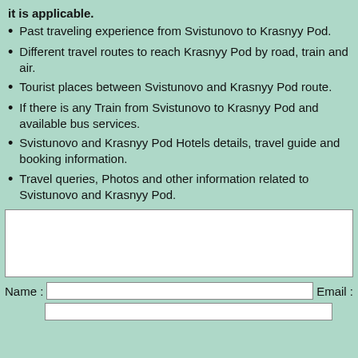it is applicable.
Past traveling experience from Svistunovo to Krasnyy Pod.
Different travel routes to reach Krasnyy Pod by road, train and air.
Tourist places between Svistunovo and Krasnyy Pod route.
If there is any Train from Svistunovo to Krasnyy Pod and available bus services.
Svistunovo and Krasnyy Pod Hotels details, travel guide and booking information.
Travel queries, Photos and other information related to Svistunovo and Krasnyy Pod.
[textarea field]
Name : [text input]   Email : [text input]